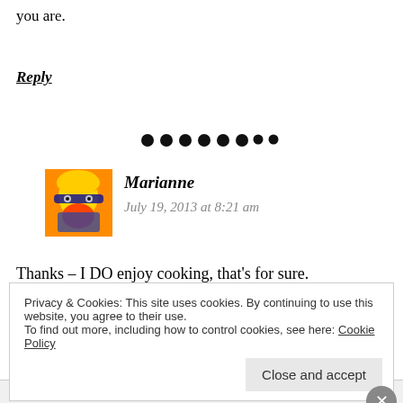you are.
Reply
[Figure (other): Row of black dots serving as a divider]
[Figure (photo): Avatar photo of Marianne - colorful pop-art style portrait with sunglasses]
Marianne
July 19, 2013 at 8:21 am
Thanks – I DO enjoy cooking, that's for sure.
Privacy & Cookies: This site uses cookies. By continuing to use this website, you agree to their use.
To find out more, including how to control cookies, see here: Cookie Policy
Close and accept
Advertisements